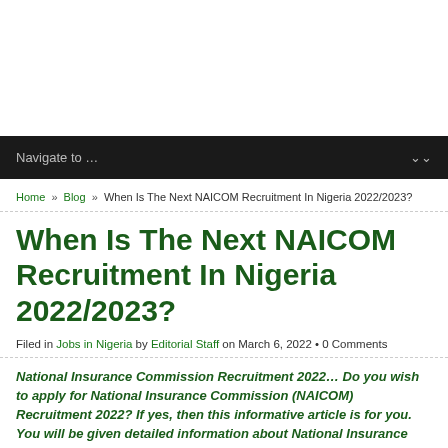Navigate to ...
Home » Blog » When Is The Next NAICOM Recruitment In Nigeria 2022/2023?
When Is The Next NAICOM Recruitment In Nigeria 2022/2023?
Filed in Jobs in Nigeria by Editorial Staff on March 6, 2022 • 0 Comments
National Insurance Commission Recruitment 2022… Do you wish to apply for National Insurance Commission (NAICOM) Recruitment 2022? If yes, then this informative article is for you. You will be given detailed information about National Insurance Commission (NAICOM) Recruitment